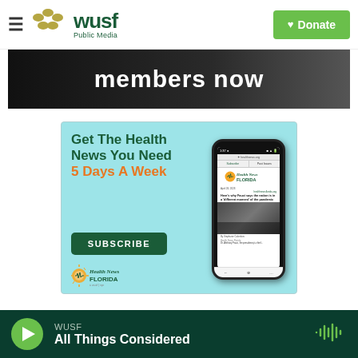WUSF Public Media — Donate
[Figure (screenshot): Dark banner showing text 'members now' in white bold font on dark background]
[Figure (screenshot): Health News Florida advertisement: 'Get The Health News You Need 5 Days A Week' with Subscribe button and phone mockup showing Health News Florida newsletter. Health News Florida logo at bottom.]
WUSF — All Things Considered (audio player bar)